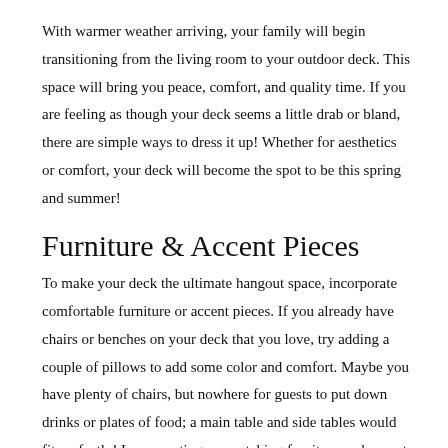With warmer weather arriving, your family will begin transitioning from the living room to your outdoor deck. This space will bring you peace, comfort, and quality time. If you are feeling as though your deck seems a little drab or bland, there are simple ways to dress it up! Whether for aesthetics or comfort, your deck will become the spot to be this spring and summer!
Furniture & Accent Pieces
To make your deck the ultimate hangout space, incorporate comfortable furniture or accent pieces. If you already have chairs or benches on your deck that you love, try adding a couple of pillows to add some color and comfort. Maybe you have plenty of chairs, but nowhere for guests to put down drinks or plates of food; a main table and side tables would fit perfectly! Incorporating eye-catching furniture and accent